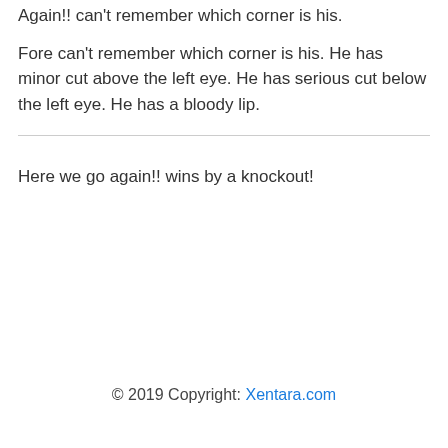Again!! can't remember which corner is his.
Fore can't remember which corner is his. He has minor cut above the left eye. He has serious cut below the left eye. He has a bloody lip.
Here we go again!! wins by a knockout!
© 2019 Copyright: Xentara.com